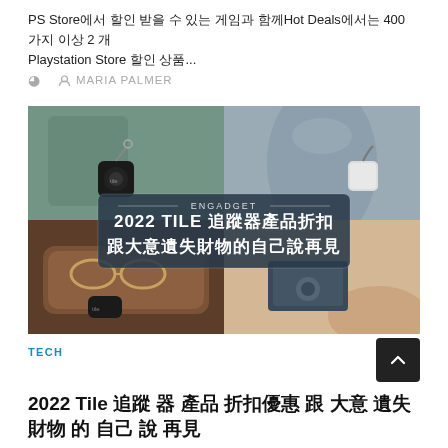PS Store에서 할인 받을 수 있는 게임과 함께Hot Deals에서는 400 가지 이상 2 개 Playstation Store 할인 상품...
MARIA PALMER
[Figure (photo): Collage of four photos showing Tile tracking devices attached to various items: keychain, water bottle, glasses case, and phone/wallet. Center overlay shows ENGADGET branding and text: 2022 TILE 追蹤器產品折扣 跟大意遺失財物的自己說再見]
TECH
2022 Tile 追蹤 器 產品 折扣優惠 跟 大意 遺失 財物 的 自己 說 再見